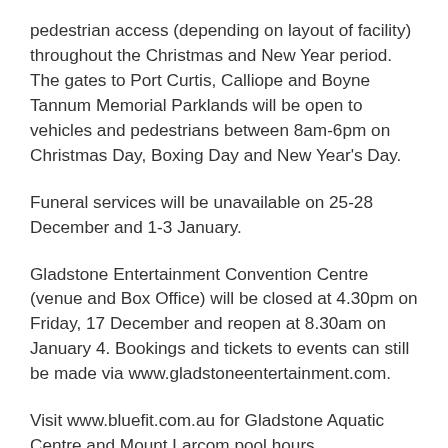pedestrian access (depending on layout of facility) throughout the Christmas and New Year period. The gates to Port Curtis, Calliope and Boyne Tannum Memorial Parklands will be open to vehicles and pedestrians between 8am-6pm on Christmas Day, Boxing Day and New Year's Day.
Funeral services will be unavailable on 25-28 December and 1-3 January.
Gladstone Entertainment Convention Centre (venue and Box Office) will be closed at 4.30pm on Friday, 17 December and reopen at 8.30am on January 4. Bookings and tickets to events can still be made via www.gladstoneentertainment.com.
Visit www.bluefit.com.au for Gladstone Aquatic Centre and Mount Larcom pool hours.